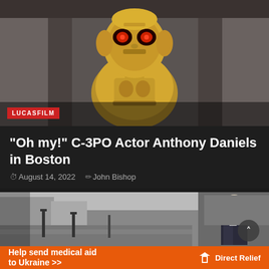[Figure (photo): C-3PO golden robot from Star Wars, close-up upper body shot against a grey corridor background. Red LUCASFILM badge overlaid at bottom-left of image.]
“Oh my!” C-3PO Actor Anthony Daniels in Boston
August 14, 2022  John Bishop
[Figure (photo): Black and white street scene with lamp posts and brick sidewalk. A man in a dark suit stands at right side of image.]
Help send medical aid to Ukraine >>  Direct Relief